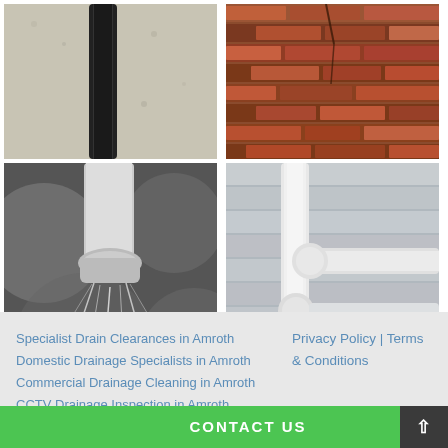[Figure (photo): Black drainpipe against a textured beige/cream wall]
[Figure (photo): Close-up of cracked red brick wall]
[Figure (photo): Black and white photo of water spraying from a pipe coupling]
[Figure (photo): White plastic drainage pipe joints against grey cladding]
Specialist Drain Clearances in Amroth
Domestic Drainage Specialists in Amroth
Commercial Drainage Cleaning in Amroth
CCTV Drainage Inspection in Amroth
Emergency Drain Unblocking in Amroth
Privacy Policy | Terms & Conditions
CONTACT US